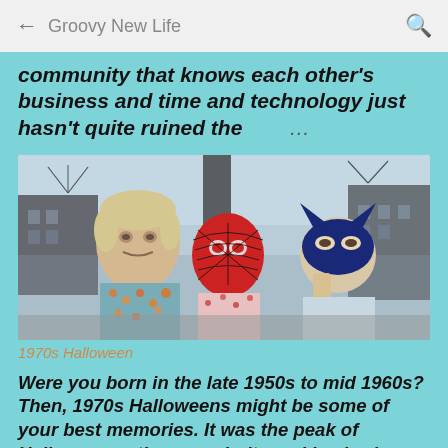Groovy New Life
community that knows each other's business and time and technology just hasn't quite ruined the …
[Figure (photo): Three children in Halloween costumes outdoors in a 1970s urban setting. Left child wears an oversized old-man mask with blonde hair and a floral dress. Middle child wears a red Spider-Man mask and floral shirt. Right child wears a blue Batman mask and is holding it up with one hand.]
1970s Halloween
Were you born in the late 1950s to mid 1960s? Then, 1970s Halloweens might be some of your best memories. It was the peak of Halloween antics, popularity and back when kids could still trick or tr…